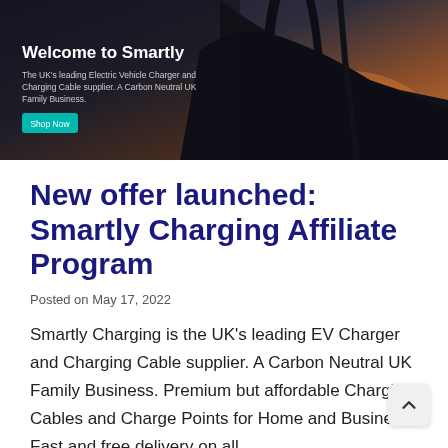[Figure (screenshot): Hero banner image showing a dark car silhouette against a sunset sky, with text overlay 'Welcome to Smartly', subtitle 'The UK's leading Electric Vehicle Charger and Charging Cable supplier. A Carbon Neutral UK Family Business.' and a teal 'Shop Now' button.]
New offer launched: Smartly Charging Affiliate Program
Posted on May 17, 2022
Smartly Charging is the UK's leading EV Charger and Charging Cable supplier. A Carbon Neutral UK Family Business. Premium but affordable Charging Cables and Charge Points for Home and Business. Fast and free delivery on all